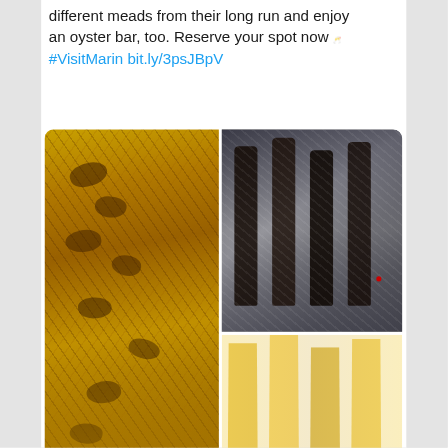different meads from their long run and enjoy an oyster bar, too. Reserve your spot now 🥂 #VisitMarin bit.ly/3psJBpV
[Figure (photo): Three-panel photo collage: left panel shows close-up of honeybees on honeycomb; top-right panel shows bottles of mead chilling on ice; bottom-right panel shows tall glasses of golden mead/beer]
This website uses cookies to ensure you get the best experience on our website.
Learn more
Got it!
[Figure (logo): Twitter bird icon (blue)]
yogurt pairing: #VisitMarin bit.ly/3ZO4ur O